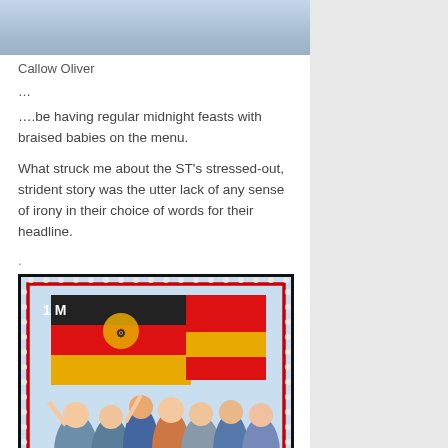[Figure (photo): Partial photo of a person wearing a light blue shirt, cropped at the top]
Callow Oliver
…
….be having regular midnight feasts with braised babies on the menu.
What struck me about the ST's stressed-out, strident story was the utter lack of any sense of irony in their choice of words for their headline.
.
[Figure (photo): A postage stamp valued at 1 M showing the East German flag alongside a red and yellow flag (Spanish flag), with a crowd of people celebrating beneath the flags. Stamp has perforated edges and a red inner border.]